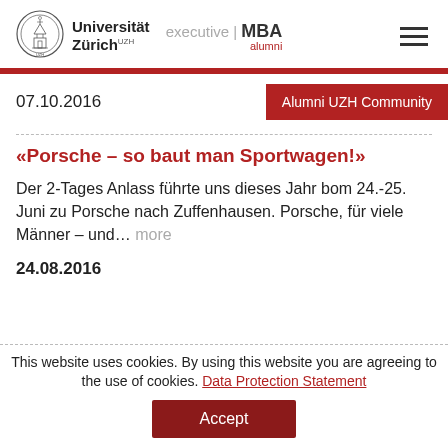[Figure (logo): Universität Zürich UZH executive MBA alumni logo with circular seal]
07.10.2016
Alumni UZH Community
«Porsche – so baut man Sportwagen!»
Der 2-Tages Anlass führte uns dieses Jahr bom 24.-25. Juni zu Porsche nach Zuffenhausen. Porsche, für viele Männer – und… more
24.08.2016
This website uses cookies. By using this website you are agreeing to the use of cookies. Data Protection Statement
Accept